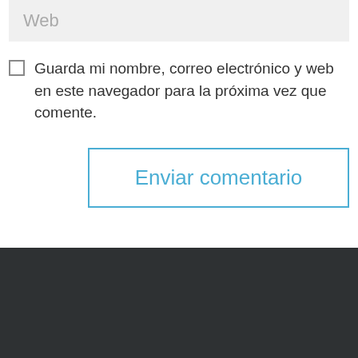Web
Guarda mi nombre, correo electrónico y web en este navegador para la próxima vez que comente.
Enviar comentario
Kuna Mya
Cundinamarca es un departamento con una riqueza gastronómica exquisita, lugares maravillosos, paisajes únicos, colores, sabores y un sinfín de experiencias por